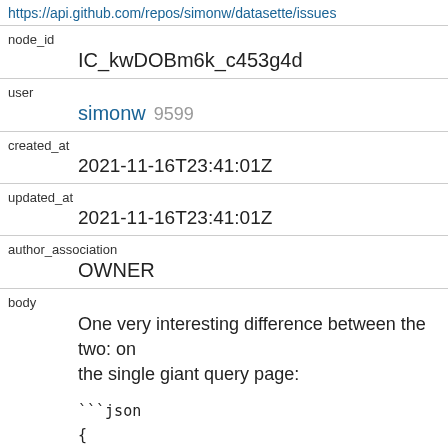https://api.github.com/repos/simonw/datasette/issues...
node_id
    IC_kwDOBm6k_c453g4d
user
    simonw 9599
created_at
    2021-11-16T23:41:01Z
updated_at
    2021-11-16T23:41:01Z
author_association
    OWNER
body
    One very interesting difference between the two: on the single giant query page:

    ```json
    {
      "request_duration_ms": 376.4317020000476,
      "sum_trace_duration_ms": 370.0828700000329,
      "num_traces": 5